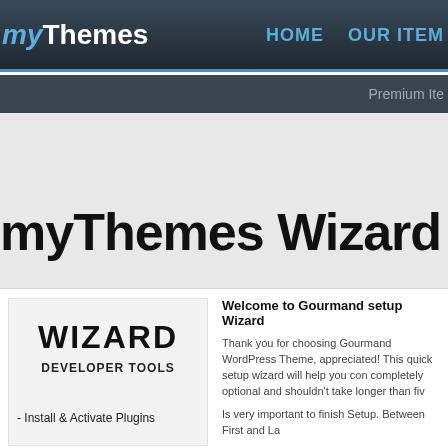myThemes  HOME  OUR ITEM
Premium Ite
myThemes Wizard - WordPr
WIZARD
DEVELOPER TOOLS
- Install & Activate Plugins
Welcome to Gourmand setup Wizard
Thank you for choosing Gourmand WordPress Theme, appreciated! This quick setup wizard will help you con completely optional and shouldn't take longer than fiv
Is very important to finish Setup. Between First and La